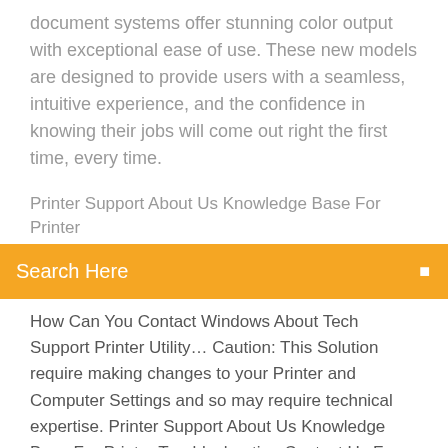document systems offer stunning color output with exceptional ease of use. These new models are designed to provide users with a seamless, intuitive experience, and the confidence in knowing their jobs will come out right the first time, every time.
Printer Support About Us Knowledge Base For Printer
Search Here
How Can You Contact Windows About Tech Support Printer Utility… Caution: This Solution require making changes to your Printer and Computer Settings and so may require technical expertise. Printer Support About Us Knowledge Base For Printer Troubleshooting Contact Us For Printer Issues 3 Reasons Why You Should Get An All In One Printer Windows Technical Support How Can You Contact Windows About Tech Support Printer Utility… Printer Support World is an Independent Online Technical and Software Support Provider Printer Support About Us Knowledge Base For Printer Troubleshooting Contact Us For Printer Issues F…